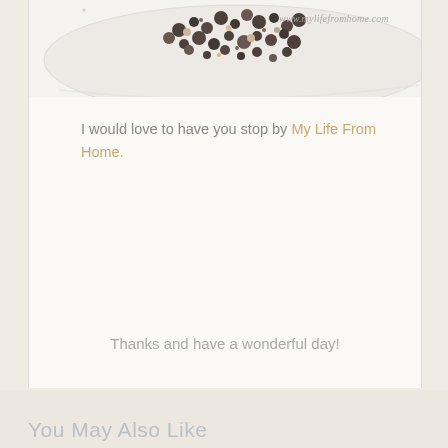[Figure (photo): Partial view of a glass bowl containing dark granular food (possibly quinoa or seeds), cropped at top. Watermark reads 'www.mylifefromhome.com' in script font at top right.]
I would love to have you stop by My Life From Home.
Thanks and have a wonderful day!
You May Also Like